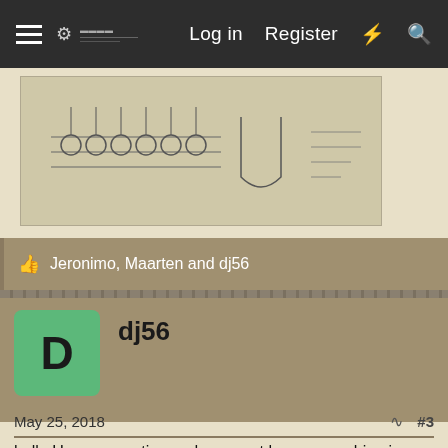Log in  Register
[Figure (photo): A technical schematic or engineering drawing showing mechanical components with pulleys, lines, and circular elements on aged paper background.]
Jeronimo, Maarten and dj56
dj56
May 25, 2018  #3
hello Uwe, a question ... do you not have messchien in your collection of books one of Björn Landström and Erich Gröner (das schiff)? where he does the description of the Flemish galleon, have looked in amazon but there he is with 3 books
Greetings
wilh: